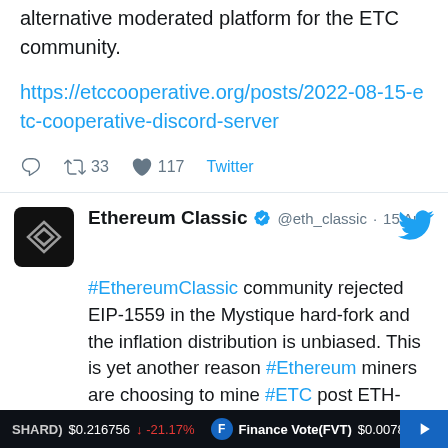alternative moderated platform for the ETC community.

https://etccooperative.org/posts/2022-08-15-etc-cooperative-discord-server
33 retweets 117 likes Twitter
Ethereum Classic @eth_classic · 15 Aug
#EthereumClassic community rejected EIP-1559 in the Mystique hard-fork and the inflation distribution is unbiased. This is yet another reason #Ethereum miners are choosing to mine #ETC post ETH-Merge. #ETCARMY
(SHARD) $0.216756 ↓ -21.17%   Finance Vote(FVT) $0.007875 ↓ -2...